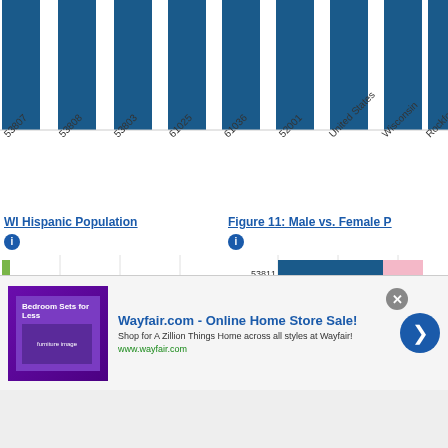[Figure (bar-chart): Partial bar chart showing top portion with rotated x-axis labels]
WI Hispanic Population
Figure 11: Male vs. Female P
[Figure (bar-chart): Partial horizontal bar chart on left side, Hispanic population data]
[Figure (grouped-bar-chart): Figure 11: Male vs. Female Population]
Wayfair.com - Online Home Store Sale! Shop for A Zillion Things Home across all styles at Wayfair! www.wayfair.com